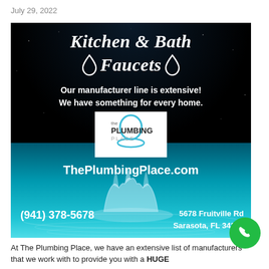July 29, 2022
[Figure (illustration): Advertisement for The Plumbing Place featuring Kitchen & Bath Faucets. Dark background top half with white bold italic text reading 'Kitchen & Bath' and water droplet icons with 'Faucets'. Text: 'Our manufacturer line is extensive! We have something for every home.' The Plumbing Place logo in white box. Website ThePlumbingPlace.com. Teal water splash background on bottom half with phone (941) 378-5678 and address 5678 Fruitville Rd, Sarasota, FL 34232.]
At The Plumbing Place, we have an extensive list of manufacturers that we work with to provide you with a HUGE